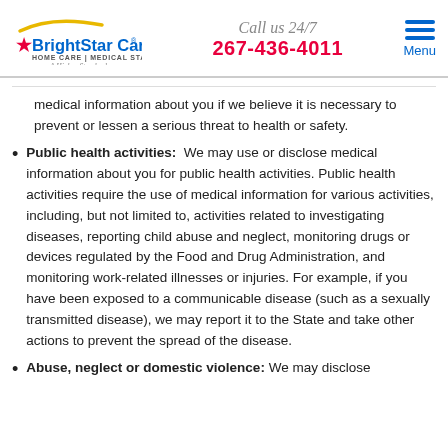BrightStar Care HOME CARE | MEDICAL STAFFING A Higher Standard | Call us 24/7 267-436-4011 | Menu
medical information about you if we believe it is necessary to prevent or lessen a serious threat to health or safety.
Public health activities: We may use or disclose medical information about you for public health activities. Public health activities require the use of medical information for various activities, including, but not limited to, activities related to investigating diseases, reporting child abuse and neglect, monitoring drugs or devices regulated by the Food and Drug Administration, and monitoring work-related illnesses or injuries. For example, if you have been exposed to a communicable disease (such as a sexually transmitted disease), we may report it to the State and take other actions to prevent the spread of the disease.
Abuse, neglect or domestic violence: We may disclose